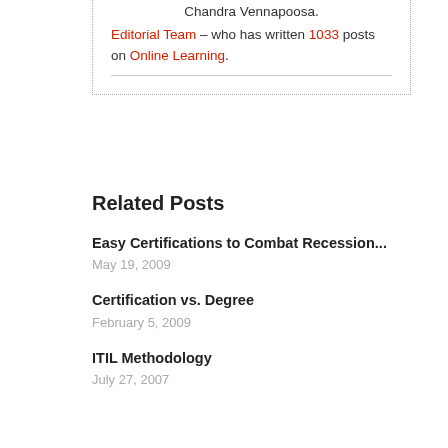Chandra Vennapoosa.
Editorial Team – who has written 1033 posts on Online Learning.
Related Posts
Easy Certifications to Combat Recession...
May 19, 2009
Certification vs. Degree
February 5, 2009
ITIL Methodology
July 27, 2007